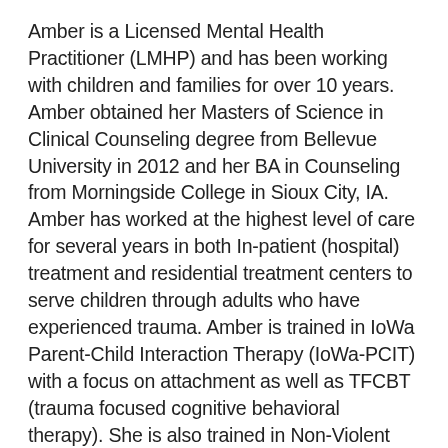Amber is a Licensed Mental Health Practitioner (LMHP) and has been working with children and families for over 10 years. Amber obtained her Masters of Science in Clinical Counseling degree from Bellevue University in 2012 and her BA in Counseling from Morningside College in Sioux City, IA. Amber has worked at the highest level of care for several years in both In-patient (hospital) treatment and residential treatment centers to serve children through adults who have experienced trauma. Amber is trained in Iowa Parent-Child Interaction Therapy (IoWa-PCIT) with a focus on attachment as well as TFCBT (trauma focused cognitive behavioral therapy). She is also trained in Non-Violent Crisis Intervention through the Crisis Prevention Institute. Amber is married with two boys. In her spare time, she enjoys spending time with her